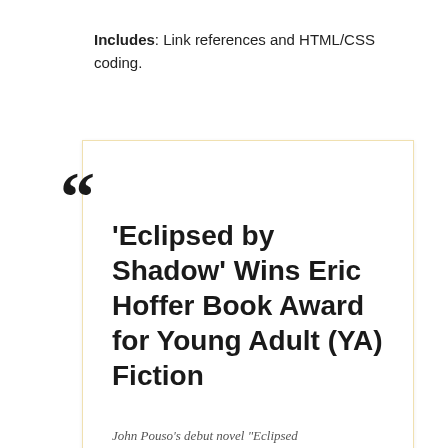Includes: Link references and HTML/CSS coding.
'Eclipsed by Shadow' Wins Eric Hoffer Book Award for Young Adult (YA) Fiction
John Pouso's debut novel "Eclipsed